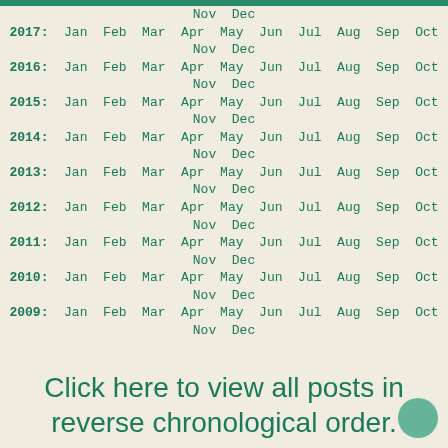2017: Jan Feb Mar Apr May Jun Jul Aug Sep Oct Nov Dec
2016: Jan Feb Mar Apr May Jun Jul Aug Sep Oct Nov Dec
2015: Jan Feb Mar Apr May Jun Jul Aug Sep Oct Nov Dec
2014: Jan Feb Mar Apr May Jun Jul Aug Sep Oct Nov Dec
2013: Jan Feb Mar Apr May Jun Jul Aug Sep Oct Nov Dec
2012: Jan Feb Mar Apr May Jun Jul Aug Sep Oct Nov Dec
2011: Jan Feb Mar Apr May Jun Jul Aug Sep Oct Nov Dec
2010: Jan Feb Mar Apr May Jun Jul Aug Sep Oct Nov Dec
2009: Jan Feb Mar Apr May Jun Jul Aug Sep Oct Nov Dec
Click here to view all posts in reverse chronological order.